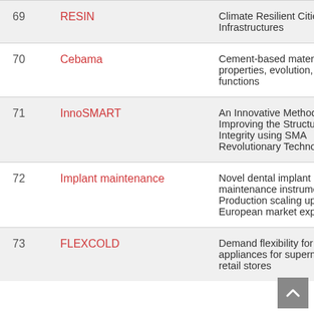| # | Name | Description |
| --- | --- | --- |
| 69 | RESIN | Climate Resilient Cities Infrastructures |
| 70 | Cebama | Cement-based material properties, evolution, barrier functions |
| 71 | InnoSMART | An Innovative Method Improving the Structural Integrity using SMA Revolutionary Technology |
| 72 | Implant maintenance | Novel dental implant maintenance instruments. Production scaling up and European market expansion |
| 73 | FLEXCOLD | Demand flexibility for cold appliances for supermarkets and retail stores |